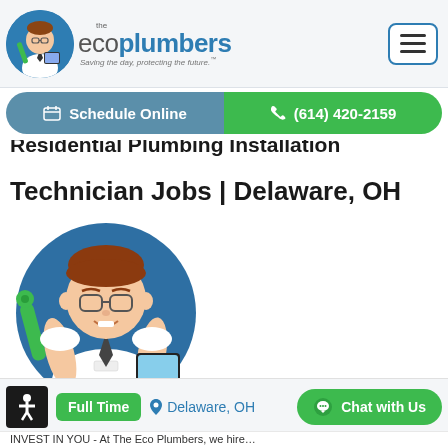[Figure (logo): The Eco Plumbers logo with mascot character in blue circle, company name 'the ecoplumbers' and tagline 'Saving the day, protecting the future.']
[Figure (illustration): Hamburger menu button with three horizontal lines, rounded rectangle border in blue]
Schedule Online
(614) 420-2159
Residential Plumbing Installation Technician Jobs | Delaware, OH
[Figure (illustration): Eco Plumbers mascot character - cartoon plumber with glasses, white shirt, tie, holding a green wrench and tablet, inside a blue circle]
Full Time
Delaware, OH
Chat with Us
INVEST IN YOU - At The Eco Plumbers, we hire...